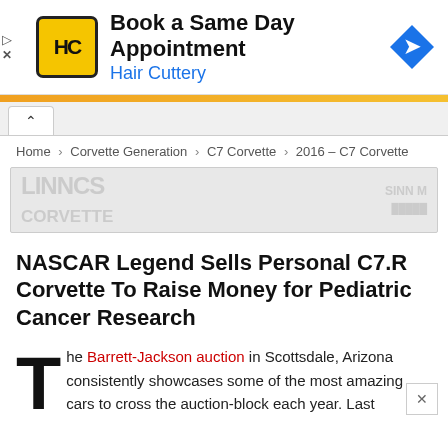[Figure (advertisement): Hair Cuttery advertisement banner: logo with HC letters on yellow background, text 'Book a Same Day Appointment' and 'Hair Cuttery' in blue, blue diamond arrow icon on right]
[Figure (infographic): Orange horizontal bar separator]
[Figure (screenshot): Navigation tab with up-caret symbol on gray background]
Home > Corvette Generation > C7 Corvette > 2016 – C7 Corvette
[Figure (advertisement): Blurred/partially visible secondary advertisement banner with gray text]
NASCAR Legend Sells Personal C7.R Corvette To Raise Money for Pediatric Cancer Research
The Barrett-Jackson auction in Scottsdale, Arizona consistently showcases some of the most amazing cars to cross the auction-block each year. Last